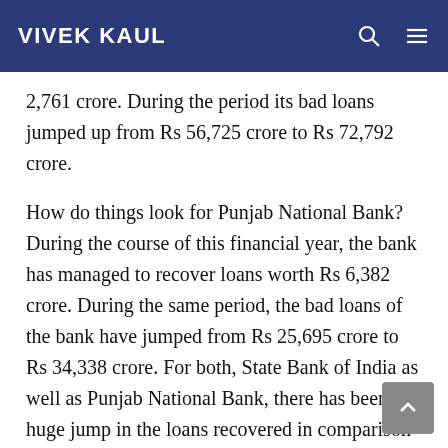VIVEK KAUL
2,761 crore. During the period its bad loans jumped up from Rs 56,725 crore to Rs 72,792 crore.
How do things look for Punjab National Bank? During the course of this financial year, the bank has managed to recover loans worth Rs 6,382 crore. During the same period, the bad loans of the bank have jumped from Rs 25,695 crore to Rs 34,338 crore. For both, State Bank of India as well as Punjab National Bank, there has been a huge jump in the loans recovered in comparison to April to December 2014. Nevertheless, the